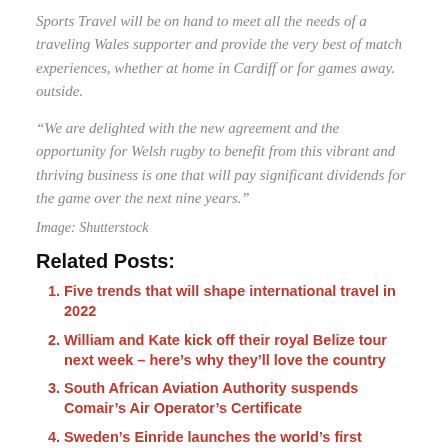Sports Travel will be on hand to meet all the needs of a traveling Wales supporter and provide the very best of match experiences, whether at home in Cardiff or for games away. outside.
“We are delighted with the new agreement and the opportunity for Welsh rugby to benefit from this vibrant and thriving business is one that will pay significant dividends for the game over the next nine years.”
Image: Shutterstock
Related Posts:
Five trends that will shape international travel in 2022
William and Kate kick off their royal Belize tour next week – here’s why they’ll love the country
South African Aviation Authority suspends Comair’s Air Operator’s Certificate
Sweden’s Einride launches the world’s first remote pod operator for a fleet of autonomous electric